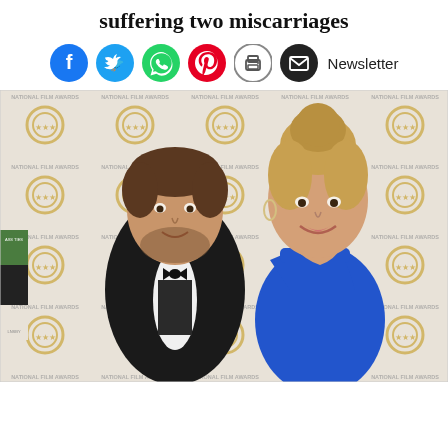suffering two miscarriages
[Figure (photo): A couple posing at a National Film Awards event. The man wears a black tuxedo with a bow tie, and the woman wears a bright blue dress with her blonde hair up. Logo-covered step-and-repeat backdrop behind them.]
[Figure (infographic): Social media share icons row: Facebook (blue circle), Twitter (light blue circle), WhatsApp (green circle), Pinterest (red circle), Print (white circle with printer icon), Email (black circle), Newsletter text label]